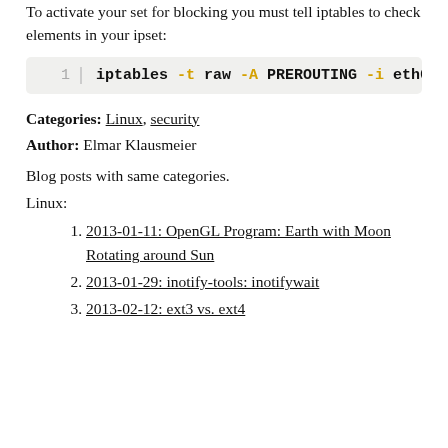To activate your set for blocking you must tell iptables to check elements in your ipset:
1  iptables -t raw -A PREROUTING -i eth0
Categories: Linux, security
Author: Elmar Klausmeier
Blog posts with same categories.
Linux:
2013-01-11: OpenGL Program: Earth with Moon Rotating around Sun
2013-01-29: inotify-tools: inotifywait
2013-02-12: ext3 vs. ext4